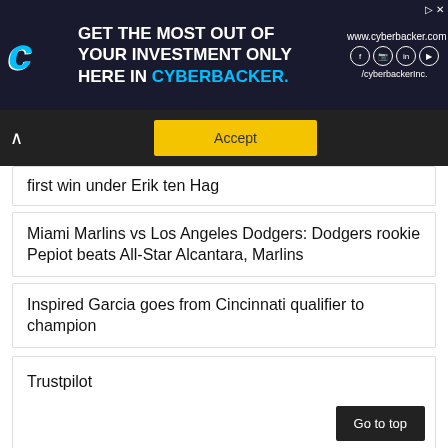[Figure (screenshot): Cyberbacker advertisement banner: dark background with logo, text 'GET THE MOST OUT OF YOUR INVESTMENT ONLY HERE IN CYBERBACKER.' and social media icons.]
[Figure (screenshot): Cookie consent bar with upward arrow and yellow Accept button on dark background.]
first win under Erik ten Hag
Miami Marlins vs Los Angeles Dodgers: Dodgers rookie Pepiot beats All-Star Alcantara, Marlins
Inspired Garcia goes from Cincinnati qualifier to champion
Trustpilot
Go to top